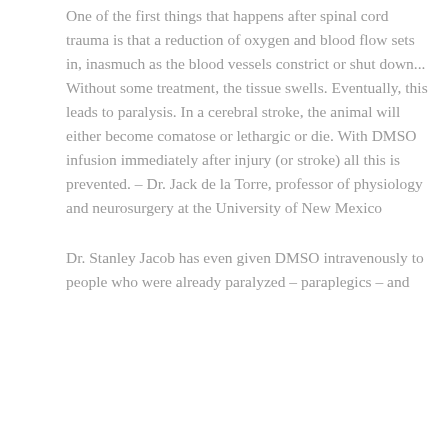One of the first things that happens after spinal cord trauma is that a reduction of oxygen and blood flow sets in, inasmuch as the blood vessels constrict or shut down... Without some treatment, the tissue swells. Eventually, this leads to paralysis. In a cerebral stroke, the animal will either become comatose or lethargic or die. With DMSO infusion immediately after injury (or stroke) all this is prevented. – Dr. Jack de la Torre, professor of physiology and neurosurgery at the University of New Mexico
Dr. Stanley Jacob has even given DMSO intravenously to people who were already paralyzed – paraplegics – and